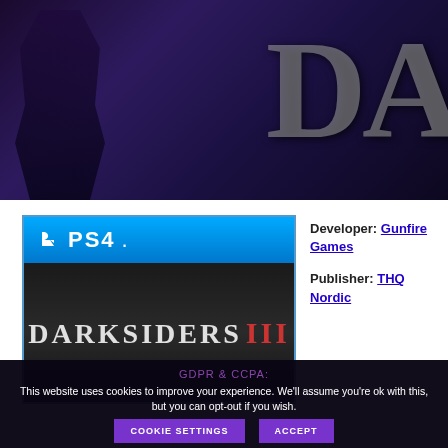[Figure (screenshot): Dark purple/blue hero banner with a figure silhouette and large 'DA' letters on the right, suggesting the Darksiders III game title header.]
[Figure (photo): PS4 game cover for Darksiders III showing the PlayStation 4 logo bar in blue at top and the game title DARKSIDERS III in grey/red on a dark background.]
Developer: Gunfire Games
Publisher: THQ Nordic
GDPR & CCPA:
This website uses cookies to improve your experience. We'll assume you're ok with this, but you can opt-out if you wish.
COOKIE SETTINGS
ACCEPT